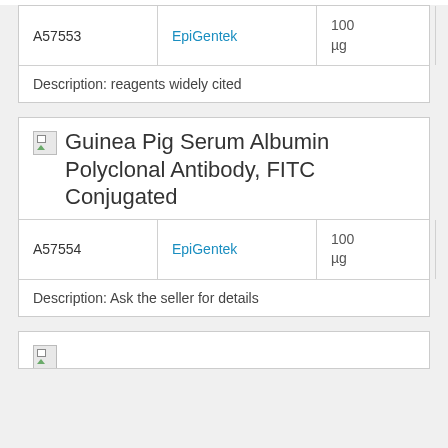| ID | Vendor | Qty | Price |
| --- | --- | --- | --- |
| A57553 | EpiGentek | 100 µg | EUR 570.55 |
| Description: reagents widely cited |  |  |  |
Guinea Pig Serum Albumin Polyclonal Antibody, FITC Conjugated
| ID | Vendor | Qty | Price |
| --- | --- | --- | --- |
| A57554 | EpiGentek | 100 µg | EUR 570.55 |
| Description: Ask the seller for details |  |  |  |